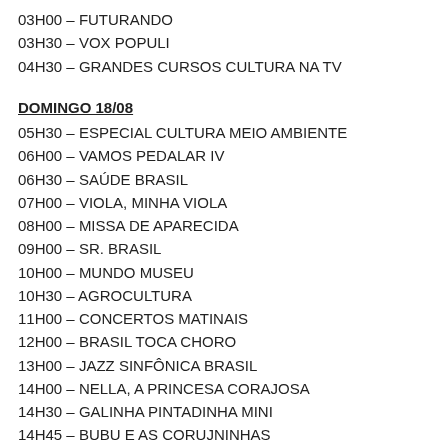03H00 – FUTURANDO
03H30 – VOX POPULI
04H30 – GRANDES CURSOS CULTURA NA TV
DOMINGO 18/08
05H30 – ESPECIAL CULTURA MEIO AMBIENTE
06H00 – VAMOS PEDALAR IV
06H30 – SAÚDE BRASIL
07H00 – VIOLA, MINHA VIOLA
08H00 – MISSA DE APARECIDA
09H00 – SR. BRASIL
10H00 – MUNDO MUSEU
10H30 – AGROCULTURA
11H00 – CONCERTOS MATINAIS
12H00 – BRASIL TOCA CHORO
13H00 – JAZZ SINFÔNICA BRASIL
14H00 – NELLA, A PRINCESA CORAJOSA
14H30 – GALINHA PINTADINHA MINI
14H45 – BUBU E AS CORUJNINHAS